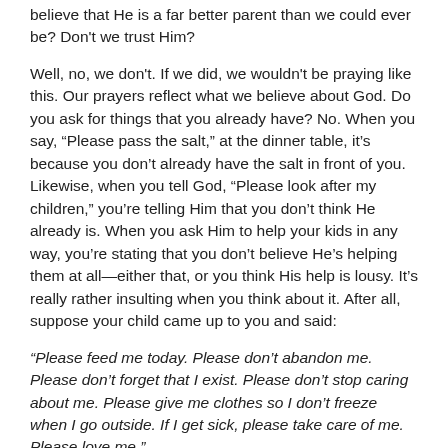believe that He is a far better parent than we could ever be? Don't we trust Him?
Well, no, we don't. If we did, we wouldn't be praying like this. Our prayers reflect what we believe about God. Do you ask for things that you already have? No. When you say, “Please pass the salt,” at the dinner table, it’s because you don’t already have the salt in front of you. Likewise, when you tell God, “Please look after my children,” you’re telling Him that you don’t think He already is. When you ask Him to help your kids in any way, you’re stating that you don’t believe He’s helping them at all—either that, or you think His help is lousy. It’s really rather insulting when you think about it. After all, suppose your child came up to you and said:
“Please feed me today. Please don’t abandon me. Please don’t forget that I exist. Please don’t stop caring about me. Please give me clothes so I don’t freeze when I go outside. If I get sick, please take care of me. Please love me.”
If your child made such requests of you, would you feel blessed and complimented? Not hardly. You’d feel greatly distressed and